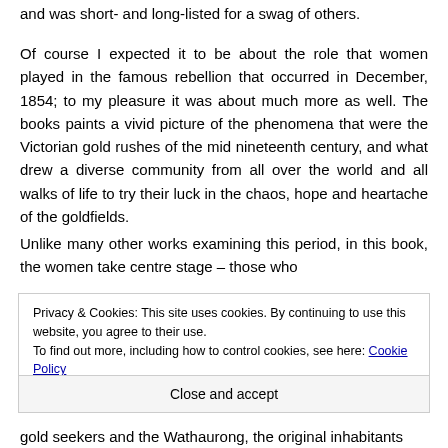and was short- and long-listed for a swag of others.
Of course I expected it to be about the role that women played in the famous rebellion that occurred in December, 1854; to my pleasure it was about much more as well. The books paints a vivid picture of the phenomena that were the Victorian gold rushes of the mid nineteenth century, and what drew a diverse community from all over the world and all walks of life to try their luck in the chaos, hope and heartache of the goldfields.
Unlike many other works examining this period, in this book, the women take centre stage – those who
Privacy & Cookies: This site uses cookies. By continuing to use this website, you agree to their use.
To find out more, including how to control cookies, see here: Cookie Policy
Close and accept
gold seekers and the Wathaurong, the original inhabitants